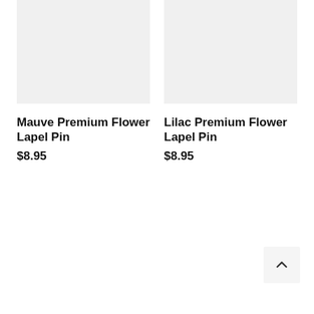[Figure (photo): Product image placeholder for Mauve Premium Flower Lapel Pin — light gray rectangle]
Mauve Premium Flower Lapel Pin
$8.95
[Figure (photo): Product image placeholder for Lilac Premium Flower Lapel Pin — light gray rectangle]
Lilac Premium Flower Lapel Pin
$8.95